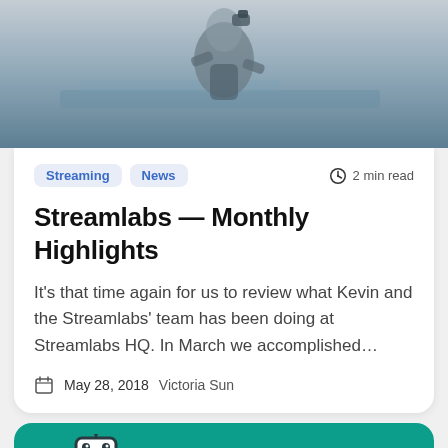[Figure (photo): Game character wearing tactical gear, screenshot from a video game]
Streaming
News
2 min read
Streamlabs — Monthly Highlights
It's that time again for us to review what Kevin and the Streamlabs' team has been doing at Streamlabs HQ. In March we accomplished…
May 28, 2018   Victoria Sun
[Figure (logo): Streamlabs robot logo with a heart and Mixer logo on teal background]